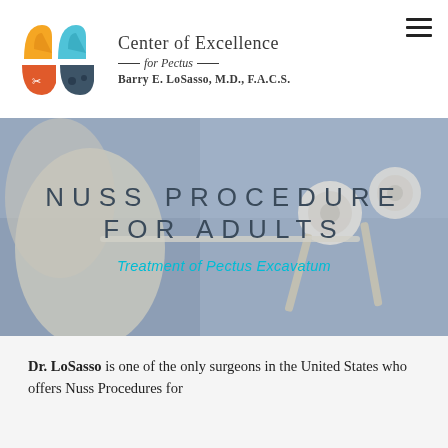[Figure (logo): Center of Excellence for Pectus logo with colorful letter shapes (yellow, blue, orange, dark teal) and text: Center of Excellence for Pectus, Barry E. LoSasso, M.D., F.A.C.S.]
[Figure (photo): Background photo of surgical tools and gloved hands on blue surgical draping, with overlaid text: NUSS PROCEDURE FOR ADULTS and Treatment of Pectus Excavatum]
NUSS PROCEDURE FOR ADULTS
Treatment of Pectus Excavatum
Dr. LoSasso is one of the only surgeons in the United States who offers Nuss Procedures for